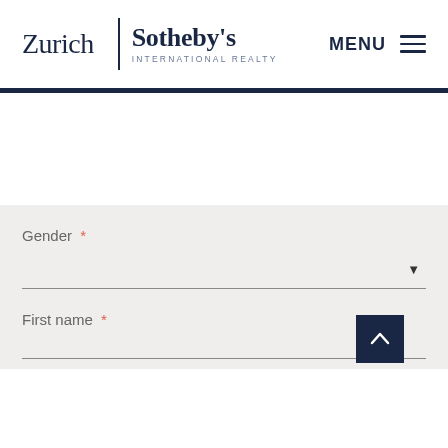Zurich | Sotheby's INTERNATIONAL REALTY   MENU ≡
Gender *
First name *